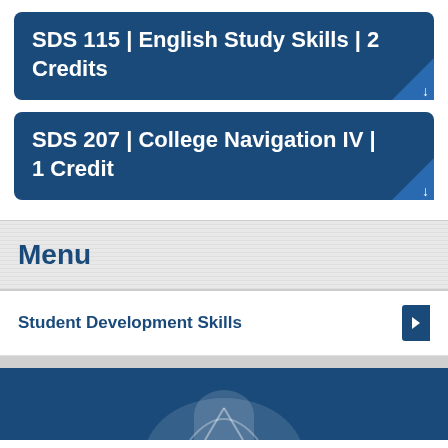SDS 115 | English Study Skills | 2 Credits
SDS 207 | College Navigation IV | 1 Credit
Menu
Student Development Skills